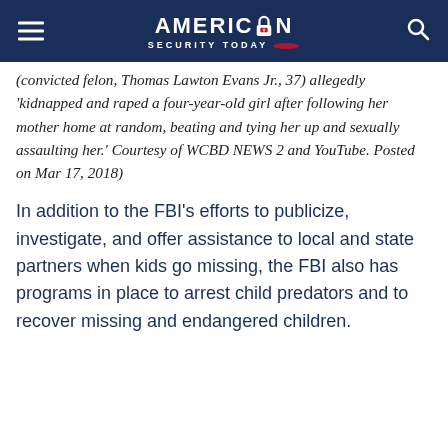AMERICAN SECURITY TODAY
(convicted felon, Thomas Lawton Evans Jr., 37) allegedly 'kidnapped and raped a four-year-old girl after following her mother home at random, beating and tying her up and sexually assaulting her.' Courtesy of WCBD NEWS 2 and YouTube. Posted on Mar 17, 2018)
In addition to the FBI's efforts to publicize, investigate, and offer assistance to local and state partners when kids go missing, the FBI also has programs in place to arrest child predators and to recover missing and endangered children.